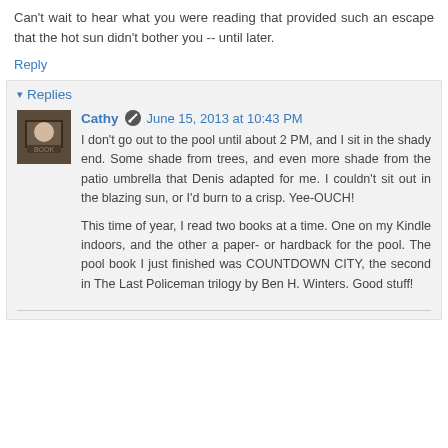Can't wait to hear what you were reading that provided such an escape that the hot sun didn't bother you -- until later.
Reply
▾ Replies
Cathy  June 15, 2013 at 10:43 PM
I don't go out to the pool until about 2 PM, and I sit in the shady end. Some shade from trees, and even more shade from the patio umbrella that Denis adapted for me. I couldn't sit out in the blazing sun, or I'd burn to a crisp. Yee-OUCH!
This time of year, I read two books at a time. One on my Kindle indoors, and the other a paper- or hardback for the pool. The pool book I just finished was COUNTDOWN CITY, the second in The Last Policeman trilogy by Ben H. Winters. Good stuff!